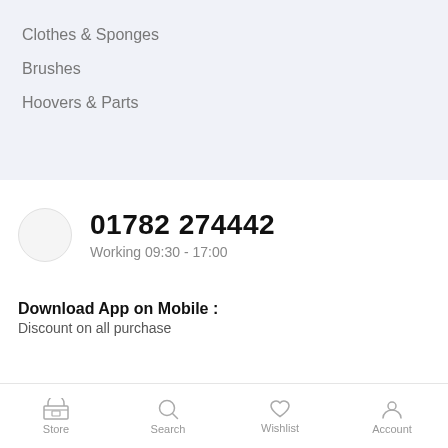Clothes & Sponges
Brushes
Hoovers & Parts
01782 274442
Working 09:30 - 17:00
Download App on Mobile :
Discount on all purchase
Store  Search  Wishlist  Account